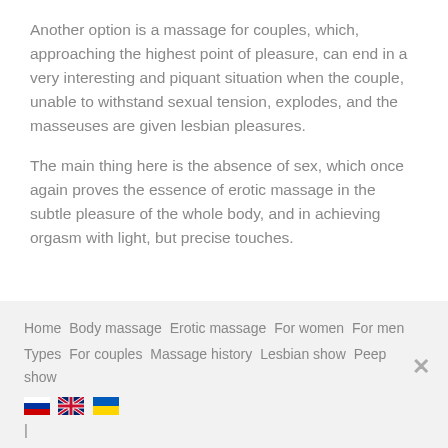Another option is a massage for couples, which, approaching the highest point of pleasure, can end in a very interesting and piquant situation when the couple, unable to withstand sexual tension, explodes, and the masseuses are given lesbian pleasures.
The main thing here is the absence of sex, which once again proves the essence of erotic massage in the subtle pleasure of the whole body, and in achieving orgasm with light, but precise touches.
Home  Body massage  Erotic massage  For women  For men  Types  For couples  Massage history  Lesbian show  Peep show